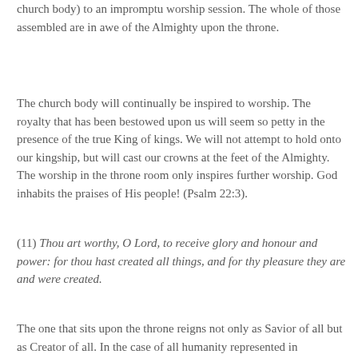church body) to an impromptu worship session. The whole of those assembled are in awe of the Almighty upon the throne.
The church body will continually be inspired to worship. The royalty that has been bestowed upon us will seem so petty in the presence of the true King of kings. We will not attempt to hold onto our kingship, but will cast our crowns at the feet of the Almighty. The worship in the throne room only inspires further worship. God inhabits the praises of His people! (Psalm 22:3).
(11) Thou art worthy, O Lord, to receive glory and honour and power: for thou hast created all things, and for thy pleasure they are and were created.
The one that sits upon the throne reigns not only as Savior of all but as Creator of all. In the case of all humanity represented in